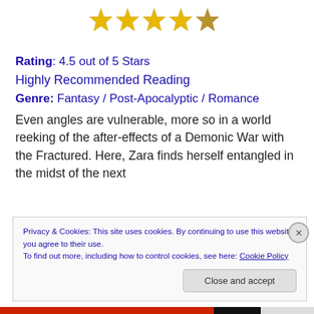[Figure (illustration): 4.5 out of 5 gold stars rating graphic — four full gold stars and one partial/darker gold star]
Rating: 4.5 out of 5 Stars
Highly Recommended Reading
Genre: Fantasy / Post-Apocalyptic / Romance
Even angles are vulnerable, more so in a world reeking of the after-effects of a Demonic War with the Fractured. Here, Zara finds herself entangled in the midst of the next
Privacy & Cookies: This site uses cookies. By continuing to use this website, you agree to their use.
To find out more, including how to control cookies, see here: Cookie Policy